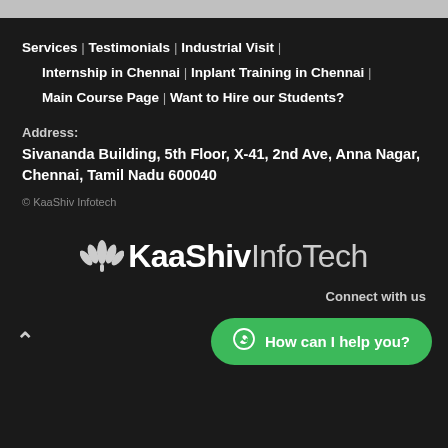Services  |  Testimonials  |  Industrial Visit  |
Internship in Chennai  |  Inplant Training in Chennai  |
Main Course Page  |  Want to Hire our Students?
Address:
Sivananda Building, 5th Floor, X-41, 2nd Ave, Anna Nagar, Chennai, Tamil Nadu 600040
© KaaShiv Infotech
[Figure (logo): KaaShiv InfoTech logo with lotus flower icon]
Connect with us
How can I help you?